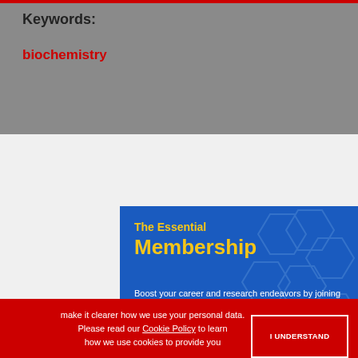Keywords:
biochemistry
[Figure (illustration): ACS Essential Membership advertisement banner on blue background with hexagonal pattern. Text reads 'The Essential Membership - Boost your career and research endeavors by joining our community of like-minded chemistry professionals.']
make it clearer how we use your personal data.
Please read our Cookie Policy to learn how we use cookies to provide you
[Figure (illustration): OriGene Special Offer advertisement banner. Text reads 'SPECIAL OFFER Primary Antibody Samples 30 ul for $99/€99 LEARN MORE']
ADVERTISEMENT